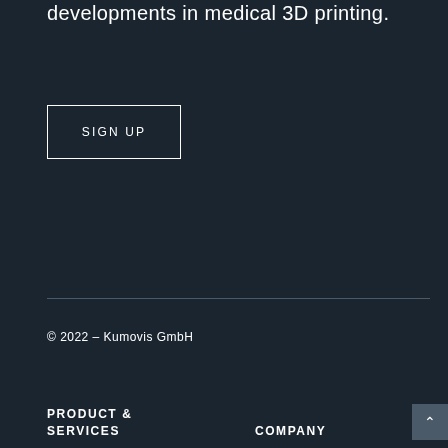developments in medical 3D printing.
SIGN UP
© 2022 – Kumovis GmbH
PRODUCT & SERVICES
COMPANY